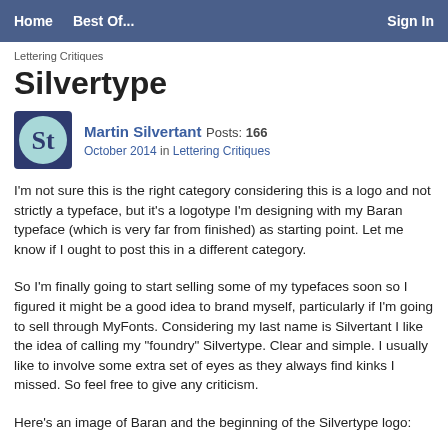Home   Best Of...   Sign In
Lettering Critiques
Silvertype
Martin Silvertant Posts: 166
October 2014   in Lettering Critiques
I'm not sure this is the right category considering this is a logo and not strictly a typeface, but it's a logotype I'm designing with my Baran typeface (which is very far from finished) as starting point. Let me know if I ought to post this in a different category.
So I'm finally going to start selling some of my typefaces soon so I figured it might be a good idea to brand myself, particularly if I'm going to sell through MyFonts. Considering my last name is Silvertant I like the idea of calling my "foundry" Silvertype. Clear and simple. I usually like to involve some extra set of eyes as they always find kinks I missed. So feel free to give any criticism.
Here's an image of Baran and the beginning of the Silvertype logo: